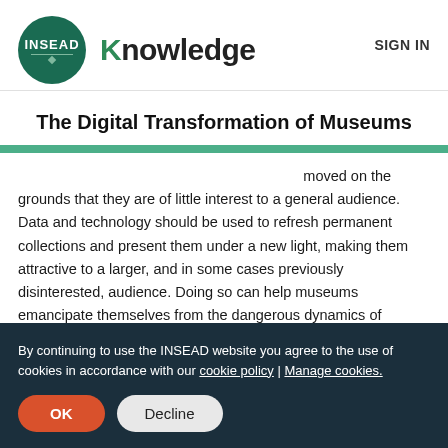[Figure (logo): INSEAD Knowledge logo with green circle containing INSEAD text and brand name 'Knowledge' beside it, with SIGN IN link on the right]
The Digital Transformation of Museums
This is not to imply that exhibits should be removed on the grounds that they are of little interest to a general audience. Data and technology should be used to refresh permanent collections and present them under a new light, making them attractive to a larger, and in some cases previously disinterested, audience. Doing so can help museums emancipate themselves from the dangerous dynamics of blockbuster exhibitions which are complex and costly to create and attract large crowds.
By continuing to use the INSEAD website you agree to the use of cookies in accordance with our cookie policy | Manage cookies.